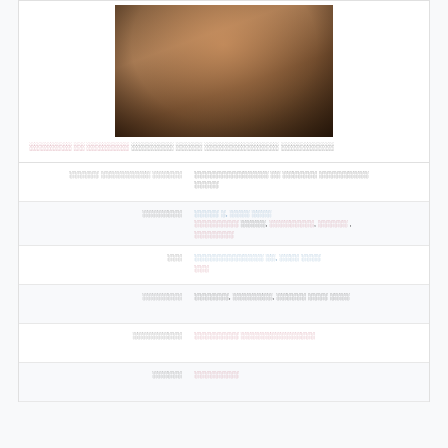[Figure (photo): Portrait painting of a bearded man in Renaissance style, bust view, brown/terracotta tones]
Portrait of a bearded man linked to Renaissance biographical article
| Label | Value |
| --- | --- |
| Label text | Multi-word descriptive text |
| Label | Link text, link text Link text, Link text, Link text, Link text |
| Label | Link text, Link text Link text |
| Label | Text, text, text text text |
| Label | Link text |
| Label | Link text |